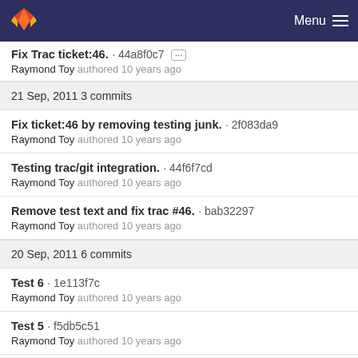GitLab navigation bar with Menu
Fix Trac ticket:46. · 44a8f0c7
Raymond Toy authored 10 years ago
21 Sep, 2011 3 commits
Fix ticket:46 by removing testing junk. · 2f083da9
Raymond Toy authored 10 years ago
Testing trac/git integration. · 44f6f7cd
Raymond Toy authored 10 years ago
Remove test text and fix trac #46. · bab32297
Raymond Toy authored 10 years ago
20 Sep, 2011 6 commits
Test 6 · 1e113f7c
Raymond Toy authored 10 years ago
Test 5 · f5db5c51
Raymond Toy authored 10 years ago